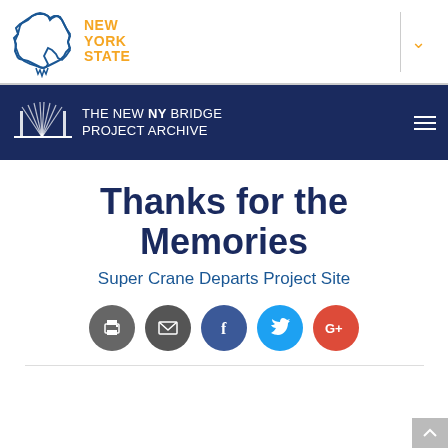[Figure (logo): New York State logo with outline of NY state in blue and 'NEW YORK STATE' text in orange]
[Figure (logo): The New NY Bridge Project Archive banner logo with bridge graphic and white text on navy background]
Thanks for the Memories
Super Crane Departs Project Site
[Figure (infographic): Row of social sharing icons: print, email, Facebook, Twitter, Google+]